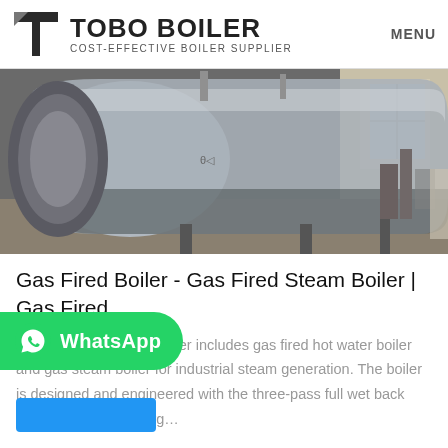[Figure (logo): TOBO BOILER logo with stylized T icon, tagline COST-EFFECTIVE BOILER SUPPLIER, and MENU text on right]
[Figure (photo): Industrial gas fired boiler in a factory setting, large silver cylindrical boiler on supports, industrial facility interior]
Gas Fired Boiler - Gas Fired Steam Boiler | Gas Fired …
WNS series gas fired boiler includes gas fired hot water boiler and gas steam boiler for industrial steam generation. The boiler is designed and engineered with the three-pass full wet back structure, adopting larg…
[Figure (other): WhatsApp contact button overlay — green rounded button with WhatsApp icon and label]
[Figure (other): Blue button at bottom of page]